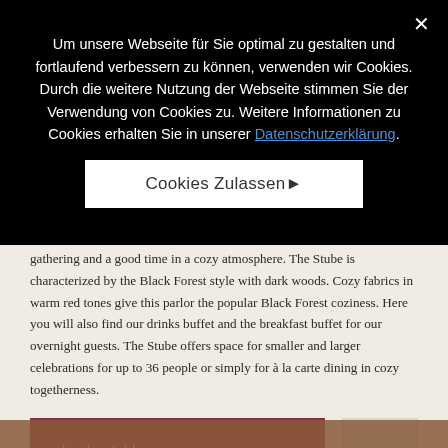Um unsere Webseite für Sie optimal zu gestalten und fortlaufend verbessern zu können, verwenden wir Cookies. Durch die weitere Nutzung der Webseite stimmen Sie der Verwendung von Cookies zu. Weitere Informationen zu Cookies erhalten Sie in unserer Datenschutzerklärung.
Cookies Zulassen
gathering and a good time in a cozy atmosphere. The Stube is characterized by the Black Forest style with dark woods. Cozy fabrics in warm red tones give this parlor the popular Black Forest coziness. Here you will also find our drinks buffet and the breakfast buffet for our overnight guests. The Stube offers space for smaller and larger celebrations for up to 36 people or simply for à la carte dining in cozy togetherness.
book a table →
[Figure (photo): Bottom portion of a warm-toned interior photo, likely showing wooden furniture in a restaurant setting.]